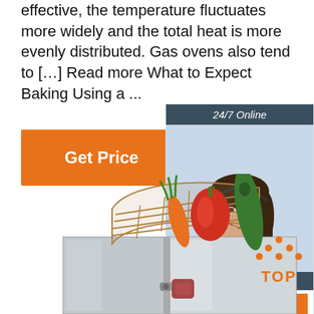effective, the temperature fluctuates more widely and the total heat is more evenly distributed. Gas ovens also tend to [...] Read more What to Expect Baking Using a ...
[Figure (other): Orange 'Get Price' button]
[Figure (other): 24/7 Online chat widget with woman wearing headset, 'Click here for free chat!' text and orange QUOTATION button]
[Figure (photo): Commercial oven with wire rack and vegetables (carrot, red pepper, zucchini) on top, stainless steel body]
[Figure (other): Orange TOP icon with dots arranged in triangle shape above the word TOP]